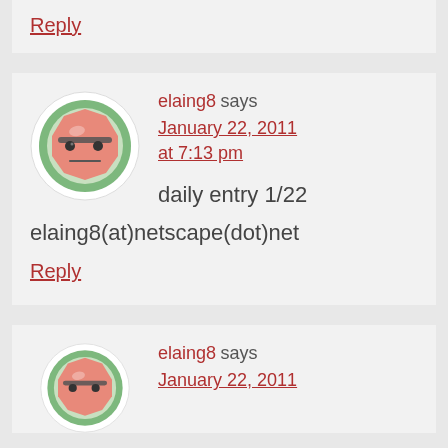Reply
elaing8 says January 22, 2011 at 7:13 pm
daily entry 1/22
elaing8(at)netscape(dot)net
Reply
elaing8 says January 22, 2011